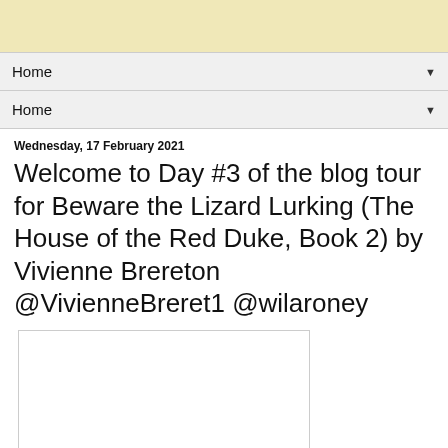Home ▼
Home ▼
Wednesday, 17 February 2021
Welcome to Day #3 of the blog tour for Beware the Lizard Lurking (The House of the Red Duke, Book 2) by Vivienne Brereton @VivienneBreret1 @wilaroney
[Figure (other): White image placeholder box]